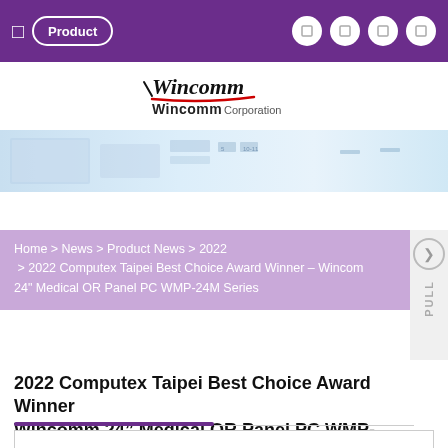Product
[Figure (logo): Wincomm Corporation logo with stylized script lettering and red underline]
[Figure (photo): Hero banner image strip showing industrial/medical PC equipment in light blue tones]
Home > News > Product News > 2022 > 2022 Computex Taipei Best Choice Award Winner – Wincomm 24" Medical OR Panel PC WMP-24M Series
2022 Computex Taipei Best Choice Award Winner Wincomm 24" Medical OR Panel PC WMP-24M Series
2022 Computex Taipei Best Choice Award Winn